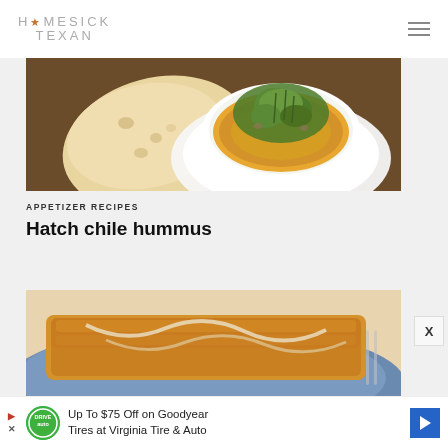HOMESICK TEXAN
[Figure (photo): Top-down view of hummus in a white bowl topped with green herbs and olive oil, alongside flat tortilla or pita bread pieces on a dark wooden surface]
APPETIZER RECIPES
Hatch chile hummus
[Figure (photo): Close-up of golden-brown baked or fried pastry on a blue plate, partially visible]
Up To $75 Off on Goodyear Tires at Virginia Tire & Auto